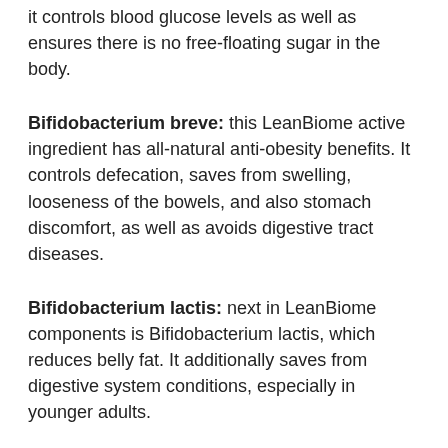it controls blood glucose levels as well as ensures there is no free-floating sugar in the body.
Bifidobacterium breve: this LeanBiome active ingredient has all-natural anti-obesity benefits. It controls defecation, saves from swelling, looseness of the bowels, and also stomach discomfort, as well as avoids digestive tract diseases.
Bifidobacterium lactis: next in LeanBiome components is Bifidobacterium lactis, which reduces belly fat. It additionally saves from digestive system conditions, especially in younger adults.
Lactobacillus Pl...